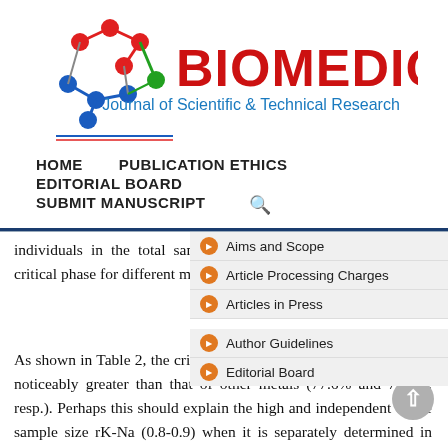[Figure (logo): Biomedical Journal of Scientific & Technical Research logo with molecular structure icon in red and blue, and text BIOMEDICAL in red and Journal of Scientific & Technical Research in blue]
HOME   PUBLICATION ETHICS   EDITORIAL BOARD   SUBMIT MANUSCRIPT
Aims and Scope
Article Processing Charges
Articles in Press
Author Guidelines
Editorial Board
individuals in the total sample (n = 10000) with MLH in the critical phase for different metals.
As shown in Table 2, the critical phase in K and Na homeostasis is noticeably greater than that of other metals (77.6% and 72.3%, resp.). Perhaps this should explain the high and independent of the sample size rK-Na (0.8-0.9) when it is separately determined in groups with Na/K< 1 and Na/K > 1 [8]. The